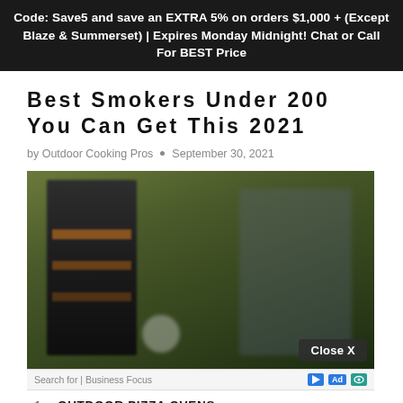Code: Save5 and save an EXTRA 5% on orders $1,000 + (Except Blaze & Summerset) | Expires Monday Midnight! Chat or Call For BEST Price
Best Smokers Under 200 You Can Get This 2021
by Outdoor Cooking Pros • September 30, 2021
[Figure (photo): Blurred outdoor photo showing a black vertical smoker with food on racks, green foliage background, and a person or grill visible on the right side. A 'Close X' button overlay appears in the bottom right corner.]
Search for | Business Focus
1. OUTDOOR PIZZA OVENS →